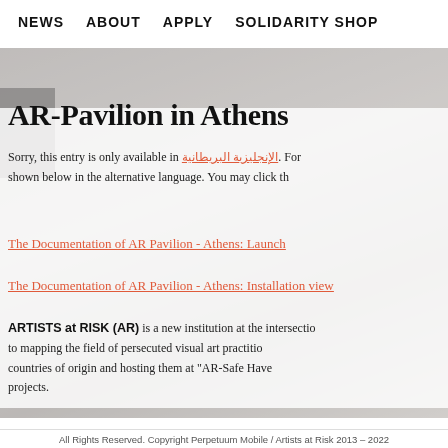NEWS   ABOUT   APPLY   SOLIDARITY SHOP
AR-Pavilion in Athens
Sorry, this entry is only available in الإنجليزية البريطانية. For the sake of viewer convenience, the content is shown below in the alternative language. You may click the
The Documentation of AR Pavilion - Athens: Launch
The Documentation of AR Pavilion - Athens: Installation view
ARTISTS at RISK (AR) is a new institution at the intersection of art and human rights, dedicated to mapping the field of persecuted visual art practitioners who have been forced to flee their countries of origin and hosting them at "AR-Safe Have..." residencies and collaborative art projects.
All Rights Reserved. Copyright Perpetuum Mobile / Artists at Risk 2013 – 2022